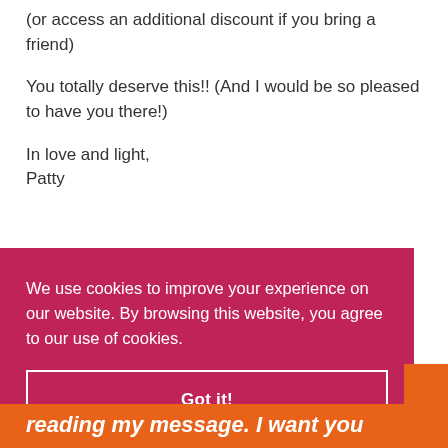(or access an additional discount if you bring a friend)
You totally deserve this!! (And I would be so pleased to have you there!)
In love and light,
Patty
We use cookies to improve your experience on our website. By browsing this website, you agree to our use of cookies.
Got it!
reading my message. I want you